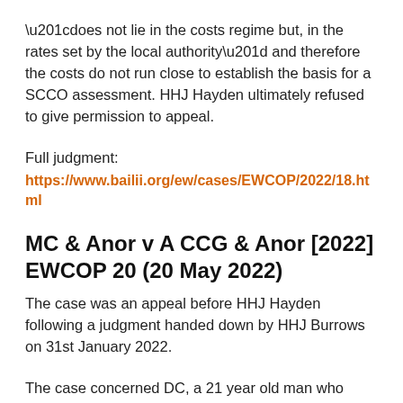“does not lie in the costs regime but, in the rates set by the local authority” and therefore the costs do not run close to establish the basis for a SCCO assessment. HHJ Hayden ultimately refused to give permission to appeal.
Full judgment:
https://www.bailii.org/ew/cases/EWCOP/2022/18.html
MC & Anor v A CCG & Anor [2022] EWCOP 20 (20 May 2022)
The case was an appeal before HHJ Hayden following a judgment handed down by HHJ Burrows on 31st January 2022.
The case concerned DC, a 21 year old man who lived in a